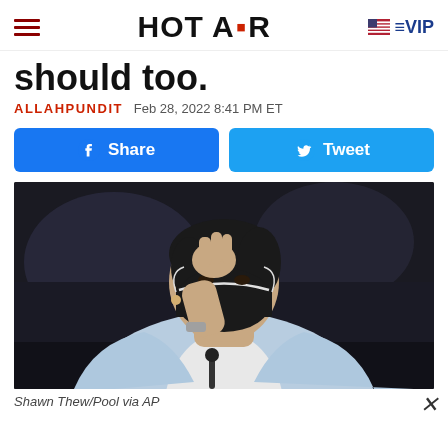HOT AIR VIP
should too.
ALLAHPUNDIT  Feb 28, 2022 8:41 PM ET
[Figure (other): Facebook Share button and Twitter Tweet button]
[Figure (photo): Woman in light blue blazer wearing a black face mask, adjusting her glasses or hair at what appears to be a congressional hearing]
Shawn Thew/Pool via AP
(partial article text cut off at bottom)